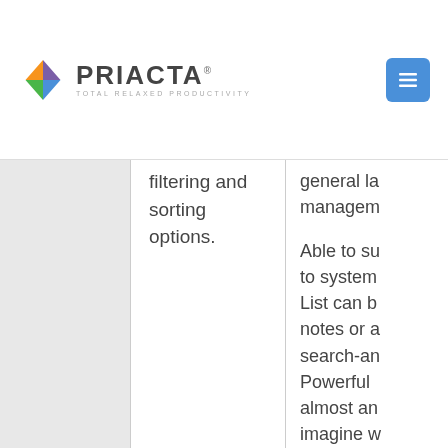PRIACTA® TOTAL RELAXED PRODUCTIVITY
filtering and sorting options.
Able to su... to system... List can b... notes or a... search-an... Powerful ... almost an... imagine w... click-to-se...
The Hit Li... GTD or T... highly cu...